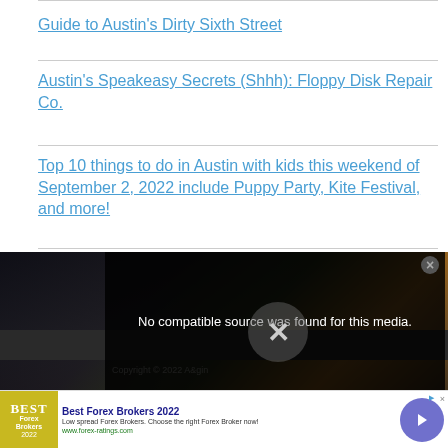Guide to Austin's Dirty Sixth Street
Austin's Speakeasy Secrets (Shhh): Floppy Disk Repair Co.
Top 10 things to do in Austin with kids this weekend of September 2, 2022 include Puppy Party, Kite Festival, and more!
[Figure (screenshot): Video player overlay showing 'No compatible source was found for this media.' message with close button, over a dark cityscape background with Copyright 2022 notice]
[Figure (screenshot): Advertisement banner for Best Forex Brokers 2022 from www.forex-ratings.com with logo, title, body text and arrow button]